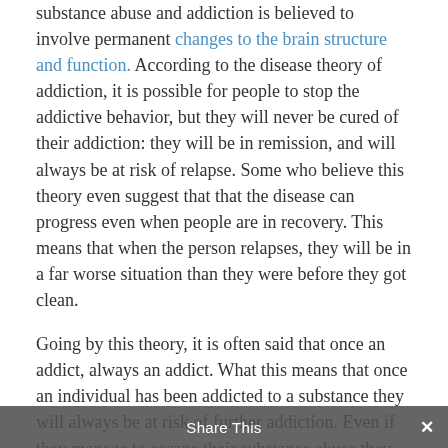substance abuse and addiction is believed to involve permanent changes to the brain structure and function. According to the disease theory of addiction, it is possible for people to stop the addictive behavior, but they will never be cured of their addiction: they will be in remission, and will always be at risk of relapse. Some who believe this theory even suggest that that the disease can progress even when people are in recovery. This means that when the person relapses, they will be in a far worse situation than they were before they got clean.
Going by this theory, it is often said that once an addict, always an addict. What this means that once an individual has been addicted to a substance they will always be at risk of further addiction. Even if they manage to escape their substance abuse they may later relapse or find new type of drug to abuse. This pessimistic view of addiction is more like a death sentence but may contain some truth. However, it is conveniently an oversimplification of the situation. There are
Share This